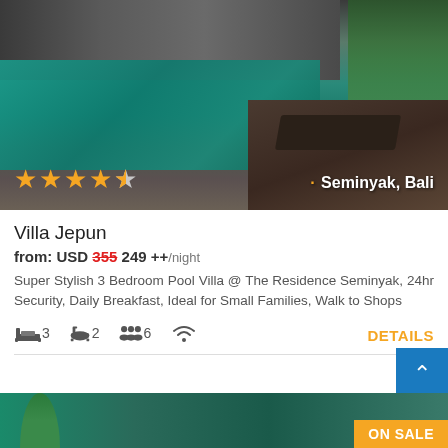[Figure (photo): Luxury villa with a large outdoor swimming pool, wooden deck with lounge chairs, modern open-plan interior visible in background, surrounded by tropical greenery. Stars (4 out of 5) overlay in bottom-left, location 'Seminyak, Bali' in bottom-right.]
Villa Jepun
from: USD 355 249 ++ /night
Super Stylish 3 Bedroom Pool Villa @ The Residence Seminyak, 24hr Security, Daily Breakfast, Ideal for Small Families, Walk to Shops
3 bedrooms, 2 bathrooms, 6 guests, wifi, DETAILS